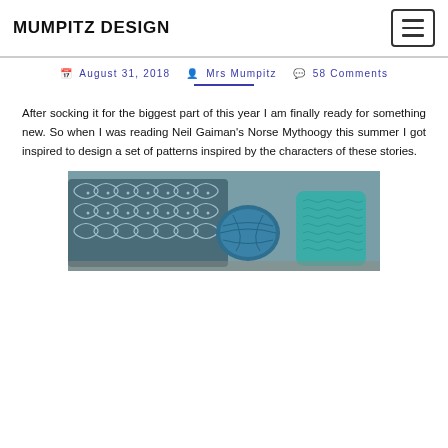MUMPITZ DESIGN
August 31, 2018  Mrs Mumpitz  58 Comments
After socking it for the biggest part of this year I am finally ready for something new. So when I was reading Neil Gaiman's Norse Mythoogy this summer I got inspired to design a set of patterns inspired by the characters of these stories.
[Figure (photo): A teal/blue knitted item and yarn next to a bag with a Celtic knot pattern, photographed outdoors on a stone surface.]